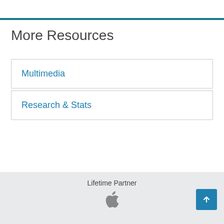More Resources
Multimedia
Research & Stats
Lifetime Partner